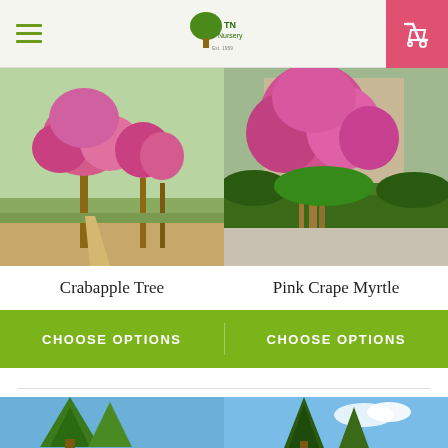TN Nursery - navigation header with hamburger menu, logo, and cart button
[Figure (photo): Crabapple tree in bloom with pink/magenta flowers along a nursery row]
[Figure (photo): Pink Crape Myrtle tree with bright pink blooms in a landscaped garden setting]
Crabapple Tree
Pink Crape Myrtle
CHOOSE OPTIONS
CHOOSE OPTIONS
[Figure (photo): Evergreen pine tree against blue sky]
[Figure (photo): Tall conifer/spruce tree against blue sky with clouds]